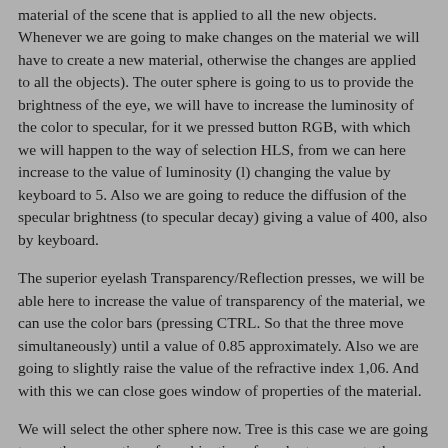material of the scene that is applied to all the new objects. Whenever we are going to make changes on the material we will have to create a new material, otherwise the changes are applied to all the objects). The outer sphere is going to us to provide the brightness of the eye, we will have to increase the luminosity of the color to specular, for it we pressed button RGB, with which we will happen to the way of selection HLS, from we can here increase to the value of luminosity (l) changing the value by keyboard to 5. Also we are going to reduce the diffusion of the specular brightness (to specular decay) giving a value of 400, also by keyboard.
The superior eyelash Transparency/Reflection presses, we will be able here to increase the value of transparency of the material, we can use the color bars (pressing CTRL. So that the three move simultaneously) until a value of 0.85 approximately. Also we are going to slightly raise the value of the refractive index 1,06. And with this we can close goes window of properties of the material.
We will select the other sphere now. Tree is this case we are going to use the properties of combination of render to generate the texture of the eye. Key 7 presses to open the window of Render Tree. We can fit the size of this floating window and change the point of view of the camera to be able to see l simultaneously scene and render tree.